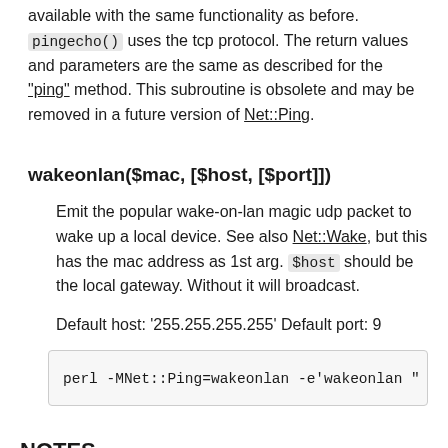available with the same functionality as before. pingecho() uses the tcp protocol. The return values and parameters are the same as described for the "ping" method. This subroutine is obsolete and may be removed in a future version of Net::Ping.
wakeonlan($mac, [$host, [$port]])
Emit the popular wake-on-lan magic udp packet to wake up a local device. See also Net::Wake, but this has the mac address as 1st arg. $host should be the local gateway. Without it will broadcast.
Default host: '255.255.255.255' Default port: 9
perl -MNet::Ping=wakeonlan -e'wakeonlan "
NOTES
There will be less network overhead (and some